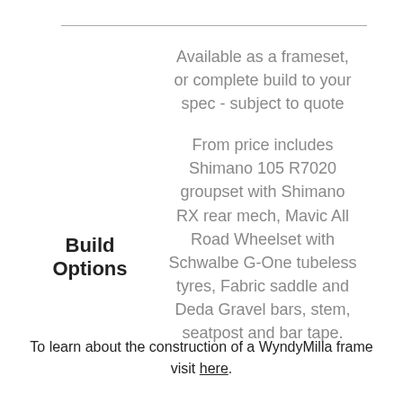Available as a frameset, or complete build to your spec - subject to quote
Build Options
From price includes Shimano 105 R7020 groupset with Shimano RX rear mech, Mavic All Road Wheelset with Schwalbe G-One tubeless tyres, Fabric saddle and Deda Gravel bars, stem, seatpost and bar tape.
To learn about the construction of a WyndyMilla frame visit here.